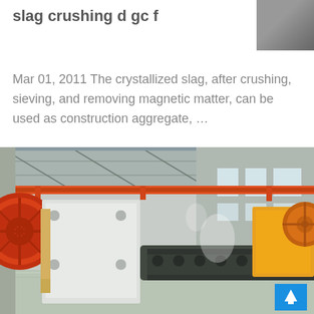slag crushing d gc f
[Figure (photo): Small thumbnail photo of industrial machinery, partially visible in top-right corner]
Mar 01, 2011 The crystallized slag, after crushing, sieving, and removing magnetic matter, can be used as construction aggregate, …
[Figure (photo): Large photo of an industrial factory interior showing heavy machinery including jaw crushers, overhead crane with red beam, yellow mining equipment on the right, and concrete floor with natural lighting from windows]